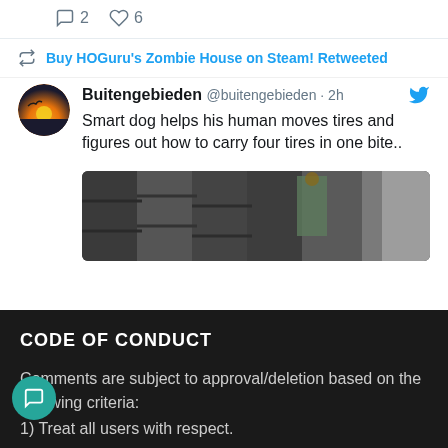[Figure (screenshot): Twitter/social media icon row with comment count 2 and like count 6]
Buy HOGuru's Zombie House on Steam! Retweeted
Buitengebieden @buitengebieden · 2h
Smart dog helps his human moves tires and figures out how to carry four tires in one bite..
[Figure (photo): Image of stacked tires with a person in background]
CODE OF CONDUCT
Comments are subject to approval/deletion based on the following criteria:
1) Treat all users with respect.
2) Do not...